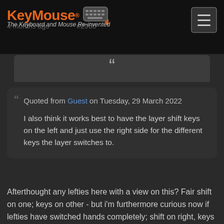KeyMouse® The Keyboard and Mouse Re-invented | 4 months ago #2966
[Figure (logo): KeyMouse logo with orange text and keyboard icon graphic, subtitle 'The Keyboard and Mouse Re-invented']
" (large opening quotation mark)
Quoted from Guest on Tuesday, 29 March 2022

I also think it works best to have the layer shift keys on the left and just use the right side for the different keys the layer switches to.
Afterthought any lefties here with a view on this? Fair shift on one; keys on other - but i'm furthermore curious now if lefties have switched hands completely; shift on right, keys on left? It's